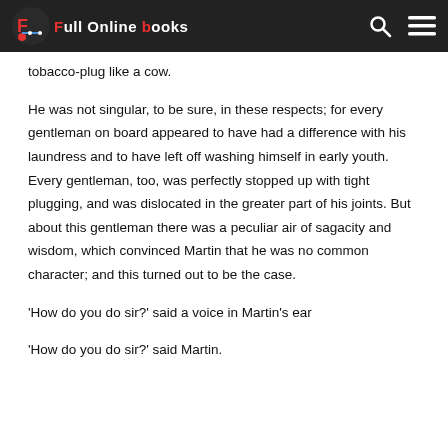Full Online Books
tobacco-plug like a cow.
He was not singular, to be sure, in these respects; for every gentleman on board appeared to have had a difference with his laundress and to have left off washing himself in early youth. Every gentleman, too, was perfectly stopped up with tight plugging, and was dislocated in the greater part of his joints. But about this gentleman there was a peculiar air of sagacity and wisdom, which convinced Martin that he was no common character; and this turned out to be the case.
‘How do you do sir?’ said a voice in Martin’s ear
‘How do you do sir?’ said Martin.